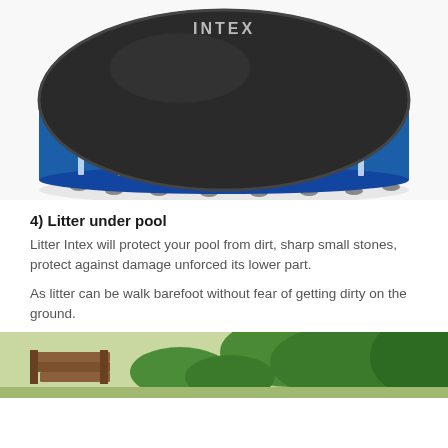[Figure (photo): Intex round above-ground swimming pool with blue sides and dark cover, with the INTEX logo visible on both the pool side and the cover, supported by metal frame legs.]
4) Litter under pool
Litter Intex will protect your pool from dirt, sharp small stones, protect against damage unforced its lower part.
As litter can be walk barefoot without fear of getting dirty on the ground.
[Figure (photo): Outdoor park or garden scene with green trees and shrubs, wooden deck/steps area visible on the left side.]